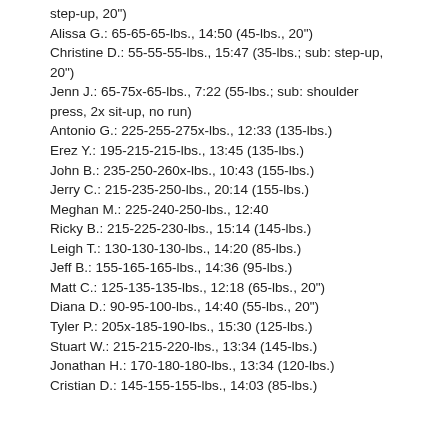step-up, 20")
Alissa G.: 65-65-65-lbs., 14:50 (45-lbs., 20")
Christine D.: 55-55-55-lbs., 15:47 (35-lbs.; sub: step-up, 20")
Jenn J.: 65-75x-65-lbs., 7:22 (55-lbs.; sub: shoulder press, 2x sit-up, no run)
Antonio G.: 225-255-275x-lbs., 12:33 (135-lbs.)
Erez Y.: 195-215-215-lbs., 13:45 (135-lbs.)
John B.: 235-250-260x-lbs., 10:43 (155-lbs.)
Jerry C.: 215-235-250-lbs., 20:14 (155-lbs.)
Meghan M.: 225-240-250-lbs., 12:40
Ricky B.: 215-225-230-lbs., 15:14 (145-lbs.)
Leigh T.: 130-130-130-lbs., 14:20 (85-lbs.)
Jeff B.: 155-165-165-lbs., 14:36 (95-lbs.)
Matt C.: 125-135-135-lbs., 12:18 (65-lbs., 20")
Diana D.: 90-95-100-lbs., 14:40 (55-lbs., 20")
Tyler P.: 205x-185-190-lbs., 15:30 (125-lbs.)
Stuart W.: 215-215-220-lbs., 13:34 (145-lbs.)
Jonathan H.: 170-180-180-lbs., 13:34 (120-lbs.)
Cristian D.: 145-155-155-lbs., 14:03 (85-lbs.)